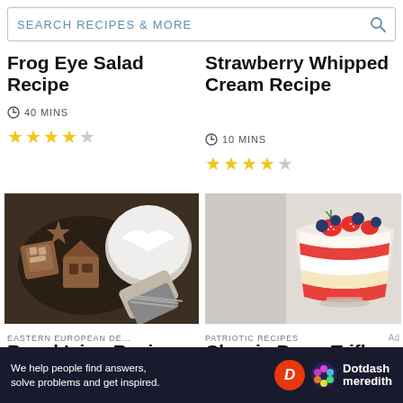SEARCH RECIPES & MORE
Frog Eye Salad Recipe
40 MINS
Strawberry Whipped Cream Recipe
10 MINS
[Figure (photo): Gingerbread cookies with royal icing and a bowl of white icing with a piping bag]
EASTERN EUROPEAN DE...
Royal Icing Recipe
[Figure (photo): Classic berry trifle in a large glass bowl with strawberries and blueberries on top]
PATRIOTIC RECIPES
Classic Berry Trifle
We help people find answers, solve problems and get inspired. Dotdash meredith